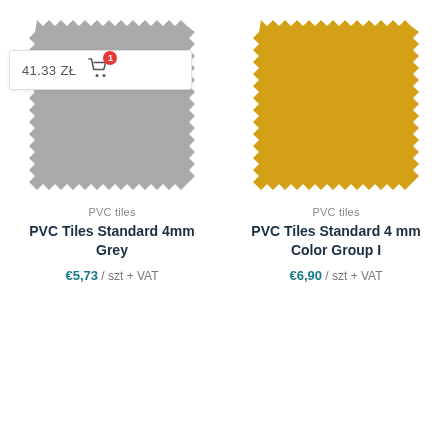[Figure (photo): Grey PVC interlocking foam tile with jagged puzzle edges, grey color. Has a shopping cart overlay showing 41.33 ZŁ with a cart icon and red badge showing 1.]
PVC tiles
PVC Tiles Standard 4mm Grey
€5,73 / szt + VAT
[Figure (photo): Yellow/golden PVC interlocking foam tile with jagged puzzle edges.]
PVC tiles
PVC Tiles Standard 4 mm Color Group I
€6,90 / szt + VAT